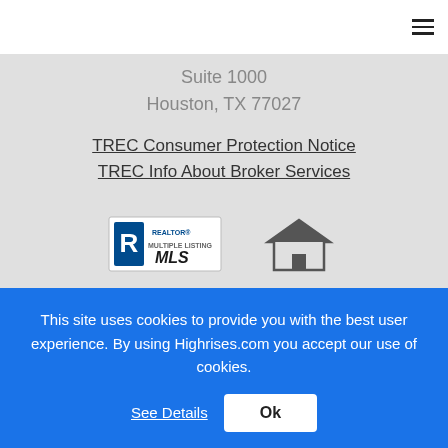Navigation bar with hamburger menu
Suite 1000
Houston, TX 77027
TREC Consumer Protection Notice
TREC Info About Broker Services
[Figure (logo): Realtor MLS and Equal Housing Opportunity logos]
Privacy Policy | About Us | Contact Us
This site uses cookies to provide you with the best user experience. By using Highrises.com you accept our use of cookies.
See Details
Ok